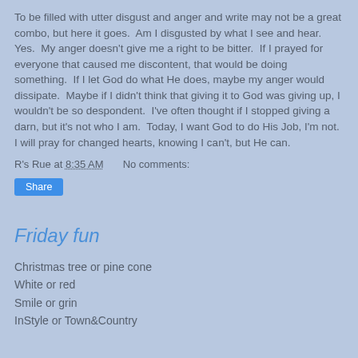To be filled with utter disgust and anger and write may not be a great combo, but here it goes.  Am I disgusted by what I see and hear.  Yes.  My anger doesn't give me a right to be bitter.  If I prayed for everyone that caused me discontent, that would be doing something.  If I let God do what He does, maybe my anger would dissipate.  Maybe if I didn't think that giving it to God was giving up, I wouldn't be so despondent.  I've often thought if I stopped giving a darn, but it's not who I am.  Today, I want God to do His Job, I'm not.  I will pray for changed hearts, knowing I can't, but He can.
R's Rue at 8:35 AM    No comments:
Share
Friday fun
Christmas tree or pine cone
White or red
Smile or grin
InStyle or Town&Country